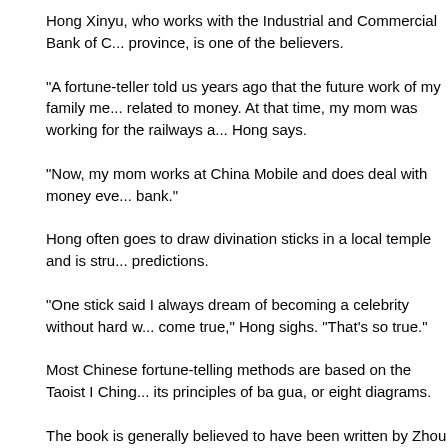Hong Xinyu, who works with the Industrial and Commercial Bank of C... province, is one of the believers.
"A fortune-teller told us years ago that the future work of my family me... related to money. At that time, my mom was working for the railways a... Hong says.
"Now, my mom works at China Mobile and does deal with money eve... bank."
Hong often goes to draw divination sticks in a local temple and is stru... predictions.
"One stick said I always dream of becoming a celebrity without hard w... come true," Hong sighs. "That's so true."
Most Chinese fortune-telling methods are based on the Taoist I Ching... its principles of ba gua, or eight diagrams.
The book is generally believed to have been written by Zhou Wen Wa... founder of the Zhou Dynasty, and later completed by Confucius (551-...
Gong Yulin, a Beijing-based fortune-teller, claims to have his own "co... such business can be officially registered under current regulations.
Gong, who looks much older than his 28 years, says he has studied t... He even became apprenticed to an I Ching scholar two years later, af...